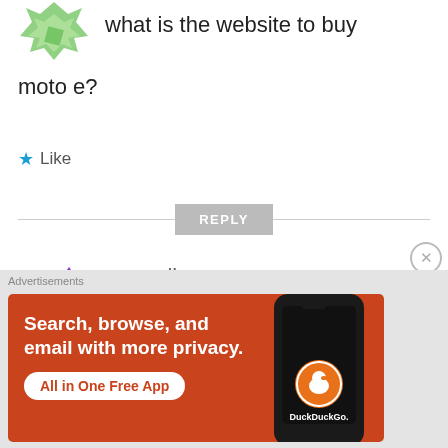[Figure (illustration): Green geometric avatar icon (partially visible at top)]
what is the website to buy moto e?
★ Like
REPLY
[Figure (illustration): Purple geometric avatar icon for user sunil]
sunil
JUNE 12, 2014 AT 9:47 AM
Advertisements
[Figure (illustration): DuckDuckGo advertisement banner with text: Search, browse, and email with more privacy. All in One Free App. DuckDuckGo logo on phone.]